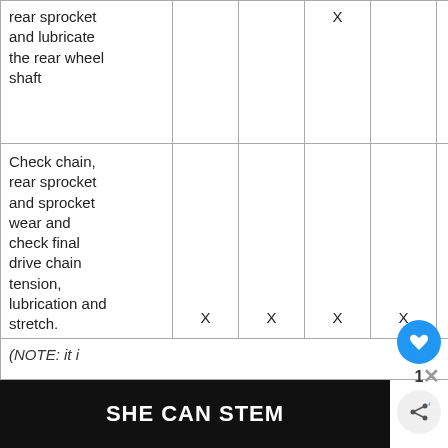| Item |  |  |  |  |  |
| --- | --- | --- | --- | --- | --- |
| rear sprocket and lubricate the rear wheel shaft |  |  | X |  | X |  |
| Check chain, rear sprocket and sprocket wear and check final drive chain tension, lubrication and stretch. | X | X | X | X | X |  |
| (NOTE: it i... |  |  |  |  |  |  |